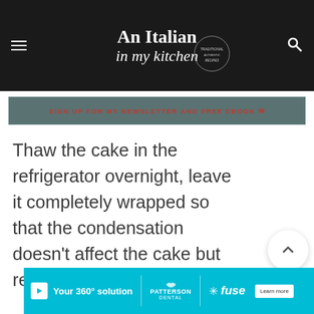An Italian in my kitchen
SIGN UP FOR MY NEWSLETTER AND FREE EBOOK
Thaw the cake in the refrigerator overnight, leave it completely wrapped so that the condensation doesn't affect the cake but remains on the wrapping.
[Figure (screenshot): Advertisement banner: Your 360° solution - Patterson Dental - Fuse - Learn more]